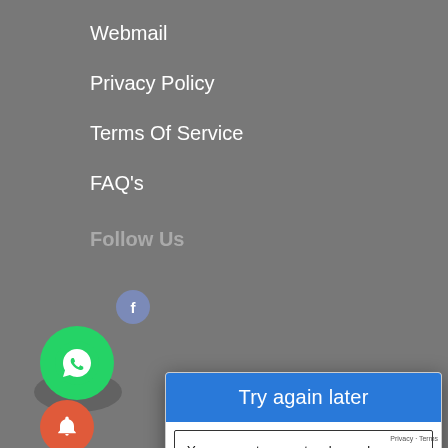Webmail
Privacy Policy
Terms Of Service
FAQ's
Follow Us
[Figure (screenshot): Social media icons: Facebook circular icon (blue-grey), WhatsApp circular icon (green with phone handset), and a notification bell icon (orange-red).]
[Figure (screenshot): Modal dialog overlay with blue header 'Try again later', body text about automated queries, and a VERIFY button.]
Try again later
Your computer or network may be sending automated queries. To protect our users, we can't process your request right now. For more details visit our help page.